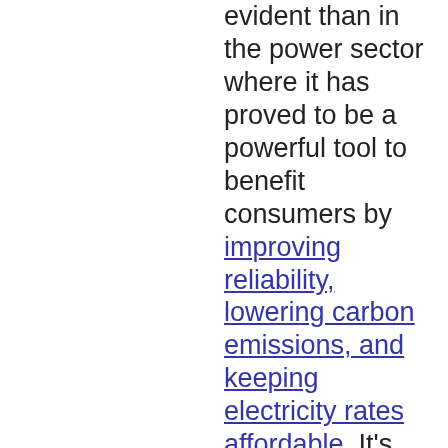evident than in the power sector where it has proved to be a powerful tool to benefit consumers by improving reliability, lowering carbon emissions, and keeping electricity rates affordable. It's why we've called on this administration and Congress to enact an economy-wide price on carbon or a well-designed clean energy standard that would allow all resources to compete to cost effectively and